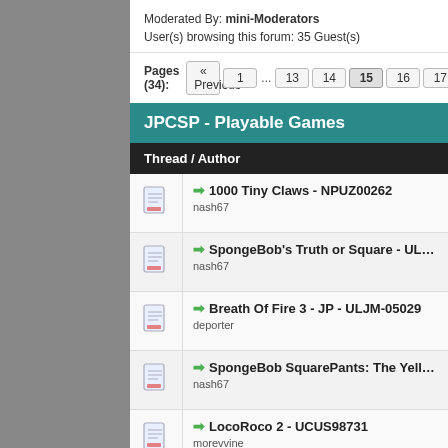Moderated By: mini-Moderators
User(s) browsing this forum: 35 Guest(s)
Pages (34): « Previous  1  ...  13  14  15  16  17  ...  34  Next »
JPCSP - Playable Games
Thread / Author
1000 Tiny Claws - NPUZ00262
nash67
SpongeBob's Truth or Square - ULUS10478
nash67
Breath Of Fire 3 - JP - ULJM-05029
deporter
SpongeBob SquarePants: The Yellow Avenger - UL...
nash67
LocoRoco 2 - UCUS98731
morevvine
So-Ra-No-Wo-To - Otome no Gojuusou - JAP - ULJ...
Darth1701
Memories Off 6 - Next Relation - JAP - ULJM05762